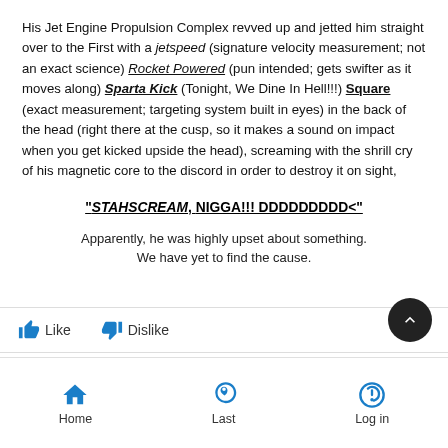His Jet Engine Propulsion Complex revved up and jetted him straight over to the First with a jetspeed (signature velocity measurement; not an exact science) Rocket Powered (pun intended; gets swifter as it moves along) Sparta Kick (Tonight, We Dine In Hell!!!) Square (exact measurement; targeting system built in eyes) in the back of the head (right there at the cusp, so it makes a sound on impact when you get kicked upside the head), screaming with the shrill cry of his magnetic core to the discord in order to destroy it on sight,
"STAHSCREAM, NIGGA!!! DDDDDDDDD<"
Apparently, he was highly upset about something.
We have yet to find the cause.
Like   Dislike   Home   Last   Log in